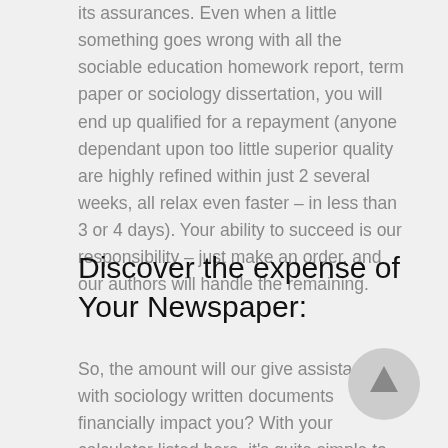its assurances. Even when a little something goes wrong with all the sociable education homework report, term paper or sociology dissertation, you will end up qualified for a repayment (anyone dependant upon too little superior quality are highly refined within just 2 several weeks, all relax even faster – in less than 3 or 4 days). Your ability to succeed is our responsibility – just make an order, and our authors will handle the remaining.
Discover the expense of Your Newspaper:
So, the amount will our give assistance with sociology written documents financially impact you? With your calculator listed here, it's quite simple to find out. Find the papers category, time frame, the total number of sites, and problem place. That's it – market price in question will pop